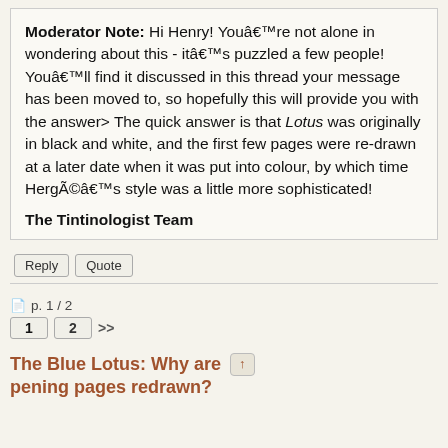Moderator Note: Hi Henry! Youâ€™re not alone in wondering about this - itâ€™s puzzled a few people! Youâ€™ll find it discussed in this thread your message has been moved to, so hopefully this will provide you with the answer> The quick answer is that Lotus was originally in black and white, and the first few pages were re-drawn at a later date when it was put into colour, by which time HergÃ©â€™s style was a little more sophisticated!
The Tintinologist Team
Reply
Quote
p. 1 / 2
1  2  >>
The Blue Lotus: Why are the opening pages redrawn?